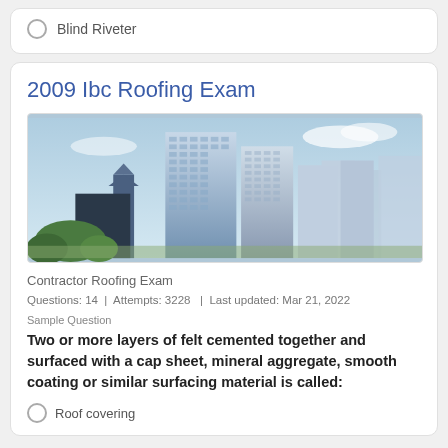Blind Riveter
2009 Ibc Roofing Exam
[Figure (photo): Cityscape photograph showing tall modern glass skyscrapers and high-rise buildings against a partly cloudy sky, with green trees in the foreground.]
Contractor Roofing Exam
Questions: 14  |  Attempts: 3228  |  Last updated: Mar 21, 2022
Sample Question
Two or more layers of felt cemented together and surfaced with a cap sheet, mineral aggregate, smooth coating or similar surfacing material is called:
Roof covering